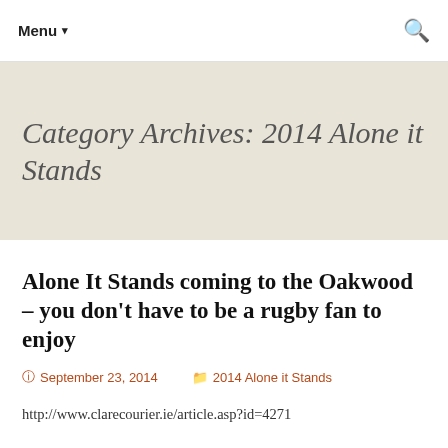Menu ▾
Category Archives: 2014 Alone it Stands
Alone It Stands coming to the Oakwood – you don't have to be a rugby fan to enjoy
September 23, 2014   2014 Alone it Stands
http://www.clarecourier.ie/article.asp?id=4271